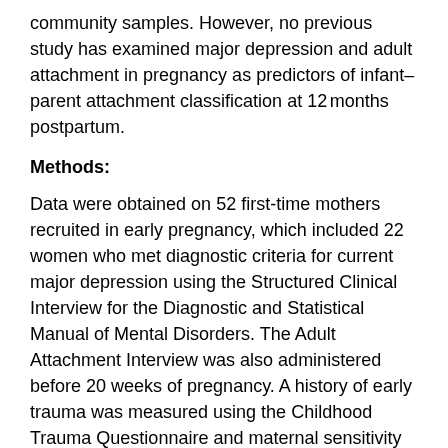community samples. However, no previous study has examined major depression and adult attachment in pregnancy as predictors of infant–parent attachment classification at 12 months postpartum.
Methods:
Data were obtained on 52 first-time mothers recruited in early pregnancy, which included 22 women who met diagnostic criteria for current major depression using the Structured Clinical Interview for the Diagnostic and Statistical Manual of Mental Disorders. The Adult Attachment Interview was also administered before 20 weeks of pregnancy. A history of early trauma was measured using the Childhood Trauma Questionnaire and maternal sensitivity was measured at 6 months postpartum using the observational measure of the Emotional Availability Scales. Infant–parent attachment was measured using the Strange Situation Procedure at 12 months.
Results:
Overall, we found no significant association between the Adult Attachment Interview and the Strange Situation